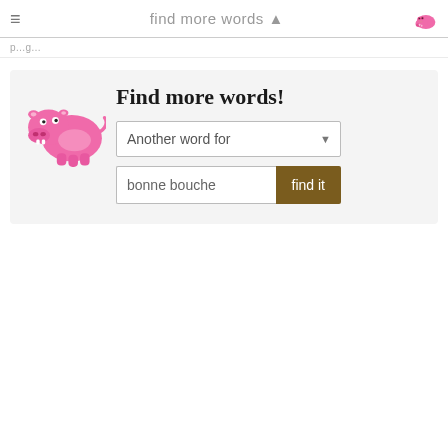find more words ▲
[Figure (illustration): Pink cartoon hippo mascot logo for 'find more words' website]
Find more words!
Another word for [dropdown] | bonne bouche [search input] | find it [button]